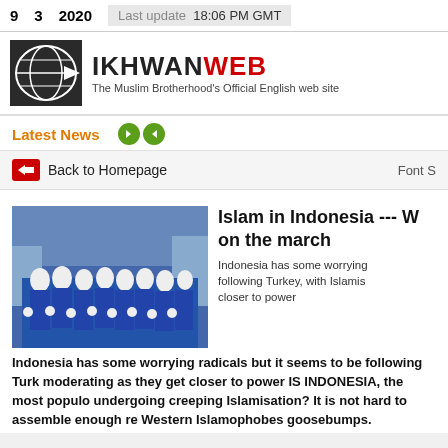9   3   2020   Last update  18:06 PM GMT
[Figure (logo): IkhwanWeb logo with globe graphic. Text reads IKHWANWEB - The Muslim Brotherhood's Official English web site]
Latest News
Back to Homepage   Font S
Islam in Indonesia --- W on the march
[Figure (photo): Group of women in blue uniforms and white hijabs marching in formation]
Indonesia has some worrying following Turkey, with Islamis closer to power
Indonesia has some worrying radicals but it seems to be following Turk moderating as they get closer to power IS INDONESIA, the most populo undergoing creeping Islamisation? It is not hard to assemble enough re Western Islamophobes goosebumps.